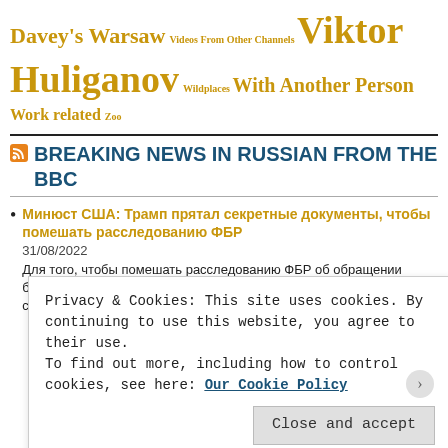Davey's Warsaw  Videos From Other Channels  Viktor Huliganov  Wildplaces  With Another Person  Work related  Zoo
BREAKING NEWS IN RUSSIAN FROM THE BBC
Минюст США: Трамп прятал секретные документы, чтобы помешать расследованию ФБР
31/08/2022
Для того, чтобы помешать расследованию ФБР об обращении бывшего президента США с секретными документами, часть бумаг спрятали в поместье Трампа во Флориде во время предыдущего
Privacy & Cookies: This site uses cookies. By continuing to use this website, you agree to their use.
To find out more, including how to control cookies, see here: Our Cookie Policy
Close and accept